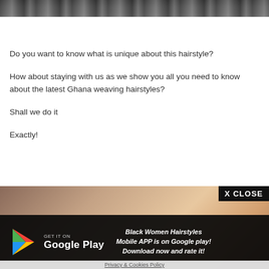[Figure (photo): Partial photo of a hairstyle at the top of the page, dark tones]
Do you want to know what is unique about this hairstyle?
How about staying with us as we show you all you need to know about the latest Ghana weaving hairstyles?
Shall we do it
Exactly!
[Figure (photo): Photo of a woman with Ghana weaving hairstyle, partially visible]
[Figure (screenshot): Google Play store banner overlay with X CLOSE button and text: Black Women Hairstyles Mobile APP is on Google play! Download now and rate it!]
Privacy & Cookies Policy